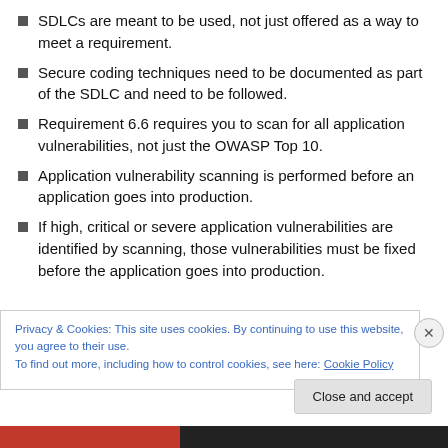SDLCs are meant to be used, not just offered as a way to meet a requirement.
Secure coding techniques need to be documented as part of the SDLC and need to be followed.
Requirement 6.6 requires you to scan for all application vulnerabilities, not just the OWASP Top 10.
Application vulnerability scanning is performed before an application goes into production.
If high, critical or severe application vulnerabilities are identified by scanning, those vulnerabilities must be fixed before the application goes into production.
Privacy & Cookies: This site uses cookies. By continuing to use this website, you agree to their use.
To find out more, including how to control cookies, see here: Cookie Policy
Close and accept